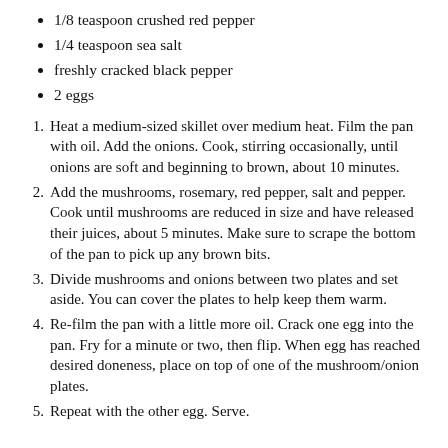1/8 teaspoon crushed red pepper
1/4 teaspoon sea salt
freshly cracked black pepper
2 eggs
1. Heat a medium-sized skillet over medium heat. Film the pan with oil. Add the onions. Cook, stirring occasionally, until onions are soft and beginning to brown, about 10 minutes.
2. Add the mushrooms, rosemary, red pepper, salt and pepper. Cook until mushrooms are reduced in size and have released their juices, about 5 minutes. Make sure to scrape the bottom of the pan to pick up any brown bits.
3. Divide mushrooms and onions between two plates and set aside. You can cover the plates to help keep them warm.
4. Re-film the pan with a little more oil. Crack one egg into the pan. Fry for a minute or two, then flip. When egg has reached desired doneness, place on top of one of the mushroom/onion plates.
5. Repeat with the other egg. Serve.